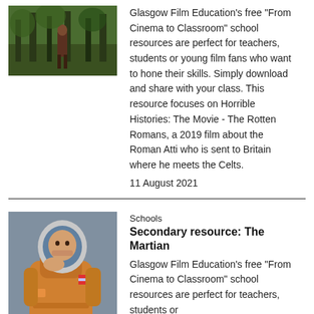[Figure (photo): A person standing in a forest, presumably a still from Horrible Histories: The Movie - The Rotten Romans]
Glasgow Film Education's free "From Cinema to Classroom" school resources are perfect for teachers, students or young film fans who want to hone their skills. Simply download and share with your class. This resource focuses on Horrible Histories: The Movie - The Rotten Romans, a 2019 film about the Roman Atti who is sent to Britain where he meets the Celts.
11 August 2021
Schools
Secondary resource: The Martian
[Figure (photo): A man in an astronaut suit, presumably a still from The Martian]
Glasgow Film Education's free "From Cinema to Classroom" school resources are perfect for teachers, students or